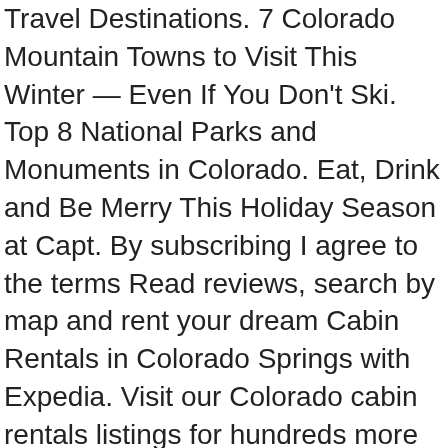Travel Destinations. 7 Colorado Mountain Towns to Visit This Winter — Even If You Don't Ski. Top 8 National Parks and Monuments in Colorado. Eat, Drink and Be Merry This Holiday Season at Capt. By subscribing I agree to the terms Read reviews, search by map and rent your dream Cabin Rentals in Colorado Springs with Expedia. Visit our Colorado cabin rentals listings for hundreds more ranging from luxury to simple mountain livin', and see a few of our favorites for winter cabin stays and lakeside lodging favorites. Annual Pass. This is our 30th year in business in Ouray County. Rocky Mountain Resorts. Pet-friendly, it also includes a TV and free Wi-Fi. FlipKey has thousands of reviews and photos to help you plan your memorable trip. Durango, situated in the San Juan National Forest, offers historic railways, whitewater rafting, and more. Rent a cabin in Salida Colorado and enjoy the Rocky Mountains. It's surrounded by tall pine trees, aspen, willows, and stunning 14er mountain views, with the bighorn sheep viewing meadow adjacent to the property. Take on Colorado's fourteeners with a Colorado cabin rental Explore the majestic Rocky Mountains and the stunning natural surroundings